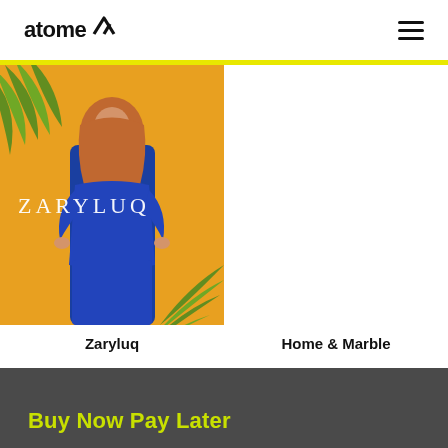atome
[Figure (photo): Zaryluq fashion brand photo: woman in blue outfit and brown hijab on yellow background with palm leaves, with ZARYLUQ text overlay]
Zaryluq
Home & Marble
Buy Now Pay Later